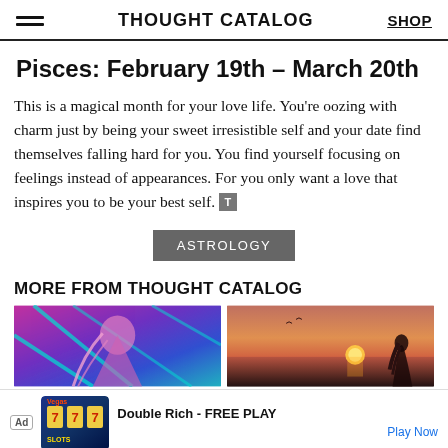THOUGHT CATALOG | SHOP
Pisces: February 19th – March 20th
This is a magical month for your love life. You're oozing with charm just by being your sweet irresistible self and your date find themselves falling hard for you. You find yourself focusing on feelings instead of appearances. For you only want a love that inspires you to be your best self.
ASTROLOGY
MORE FROM THOUGHT CATALOG
[Figure (illustration): Colorful illustration of a woman with flowing hair in purple and teal tones]
[Figure (photo): Photo of a woman at sunset on the ocean]
[Figure (screenshot): Advertisement for Double Rich Vegas Slots app - FREE PLAY]